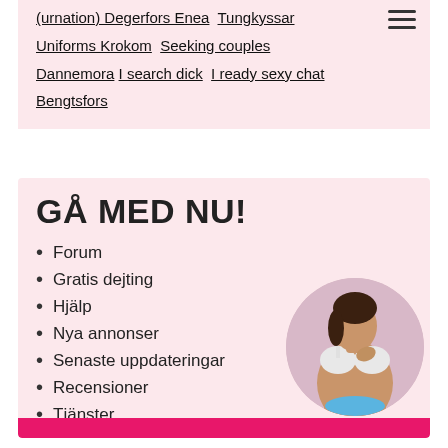(urnation) Degerfors Enea  Tungkyssar  Uniforms Krokom  Seeking couples Dannemora  I search dick  I ready sexy chat Bengtsfors
GÅ MED NU!
Forum
Gratis dejting
Hjälp
Nya annonser
Senaste uppdateringar
Recensioner
Tjänster
[Figure (photo): Circular cropped photo of a woman in a white bra, positioned in lower right of the section]